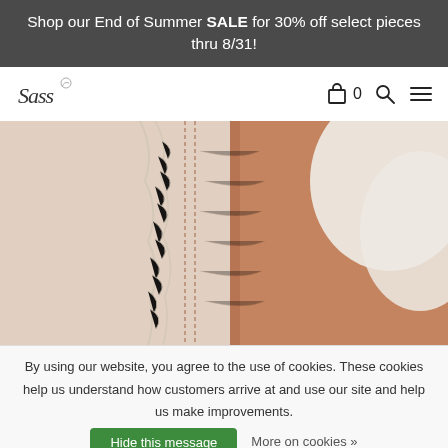Shop our End of Summer SALE for 30% off select pieces thru 8/31!
[Figure (logo): Brand script logo (cursive text logo for fashion brand)]
[Figure (photo): Close-up macro photo of fabric edge showing frayed cream/white textile against warm brown leather or suede material with hand-stitching details]
By using our website, you agree to the use of cookies. These cookies help us understand how customers arrive at and use our site and help us make improvements.
Hide this message
More on cookies »